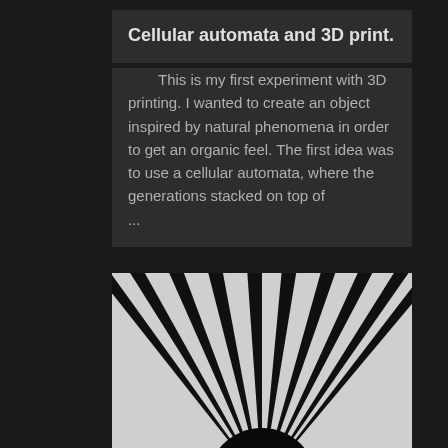Cellular automata and 3D print.
This is my first experiment with 3D printing. I wanted to create an object inspired by natural phenomena in order to get an organic feel. The first idea was to use a cellular automata, where the generations stacked on top of ...
[Figure (photo): Black and white photograph showing radiating lines emanating from a dark semicircular shape at the bottom center, creating a sunburst or sunrise pattern with alternating black and white stripes spreading outward.]